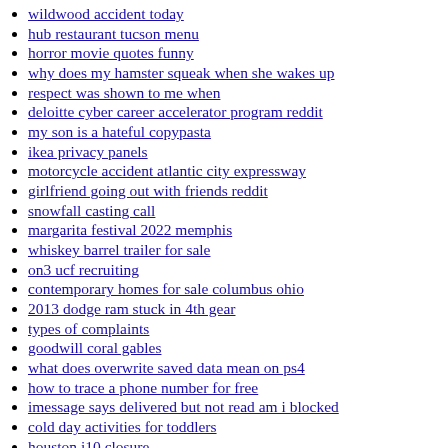wildwood accident today
hub restaurant tucson menu
horror movie quotes funny
why does my hamster squeak when she wakes up
respect was shown to me when
deloitte cyber career accelerator program reddit
my son is a hateful copypasta
ikea privacy panels
motorcycle accident atlantic city expressway
girlfriend going out with friends reddit
snowfall casting call
margarita festival 2022 memphis
whiskey barrel trailer for sale
on3 ucf recruiting
contemporary homes for sale columbus ohio
2013 dodge ram stuck in 4th gear
types of complaints
goodwill coral gables
what does overwrite saved data mean on ps4
how to trace a phone number for free
imessage says delivered but not read am i blocked
cold day activities for toddlers
houston i10 closure
thursday 7 june 2018 maths paper 2 foundation edexcel
miraculous ladybug fanfiction marinette and adrien secretly